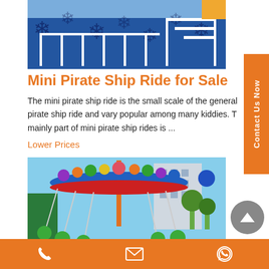[Figure (photo): Mini pirate ship ride with white railings and blue themed decoration with snowflake patterns]
Mini Pirate Ship Ride for Sale
The mini pirate ship ride is the small scale of the general pirate ship ride and vary popular among many kiddies. The mainly part of mini pirate ship rides is ...
Lower Prices
[Figure (photo): Colorful swing ride with balloon decorations in blue, green, yellow, orange and purple colors at an amusement park]
Contact Us Now | Phone | Email | WhatsApp